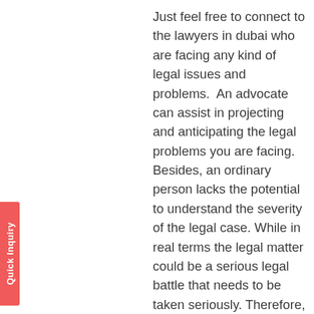Just feel free to connect to the lawyers in dubai who are facing any kind of legal issues and problems.  An advocate can assist in projecting and anticipating the legal problems you are facing. Besides, an ordinary person lacks the potential to understand the severity of the legal case. While in real terms the legal matter could be a serious legal battle that needs to be taken seriously. Therefore, it can be said consulting the advocates in Dubai has the best solution to prevent landing in hot waters.

An Advocate by your side makes things a lot simpler and easier for you as they